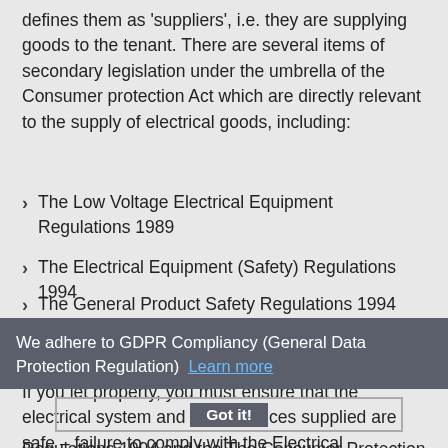defines them as 'suppliers', i.e. they are supplying goods to the tenant. There are several items of secondary legislation under the umbrella of the Consumer protection Act which are directly relevant to the supply of electrical goods, including:
The Low Voltage Electrical Equipment Regulations 1989
The Electrical Equipment (Safety) Regulations 1994
The General Product Safety Regulations 1994
The Plugs and Sockets etc. (Safety) Regulations 1994
We adhere to GDPR Compliancy (General Data Protection Regulation)  Learn more
If you let property, you must ensure that the electrical system and all appliances supplied are safe – failure to comply with the Electrical Equipment (Safety)
Regulations 1994 and the The Consumer Protection Act